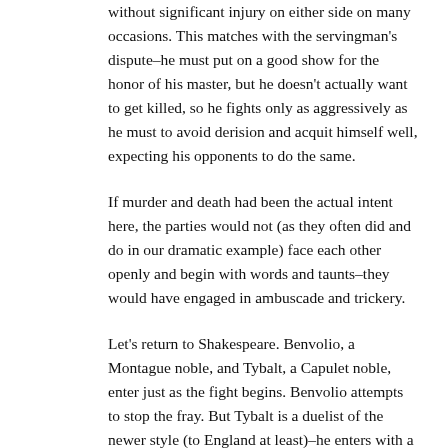without significant injury on either side on many occasions. This matches with the servingman's dispute–he must put on a good show for the honor of his master, but he doesn't actually want to get killed, so he fights only as aggressively as he must to avoid derision and acquit himself well, expecting his opponents to do the same.
If murder and death had been the actual intent here, the parties would not (as they often did and do in our dramatic example) face each other openly and begin with words and taunts–they would have engaged in ambuscade and trickery.
Let's return to Shakespeare. Benvolio, a Montague noble, and Tybalt, a Capulet noble, enter just as the fight begins. Benvolio attempts to stop the fray. But Tybalt is a duelist of the newer style (to England at least)–he enters with a rapier. We know this in part because of Mercutio's later description of him, which matches with Spanish styles of rapier fence (or at least stereotypes about them).
The English master George Silver had great derision in his fight manual for the rapier as un-English–and indeed, it was